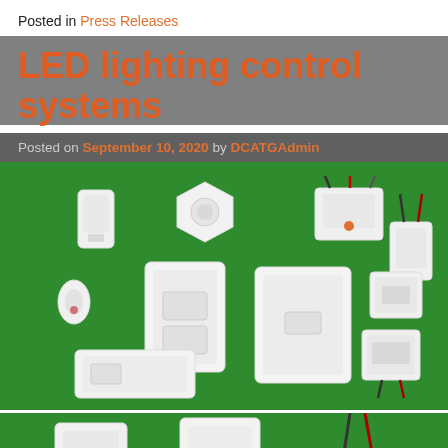Posted in Press Releases
LED lighting control systems
Posted on September 10, 2020 by DCATGAdmin
[Figure (photo): Multiple white LED lighting control system components arranged on a green background, including sensors, switches, dimmers, and wireless modules.]
[Figure (photo): Partial view of additional white LED lighting control components on a green background, cropped at the bottom of the page.]